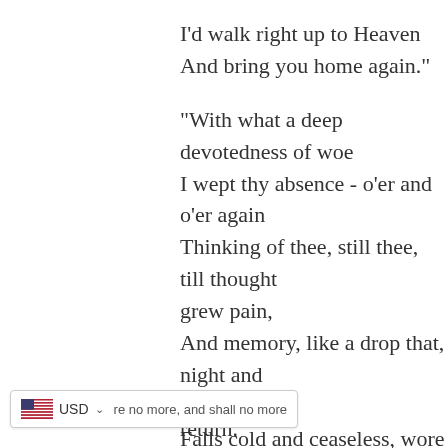I'd walk right up to Heaven
And bring you home again."
"With what a deep devotedness of woe
I wept thy absence - o'er and o'er again
Thinking of thee, still thee, till thought grew pain,
And memory, like a drop that, night and day,
Falls cold and ceaseless, wore my heart away!"
Thomas Moore
"Good-night! good-night! as we so oft have said
Beneath this roof at midnight, in the days
That are no more, and shall no more return.